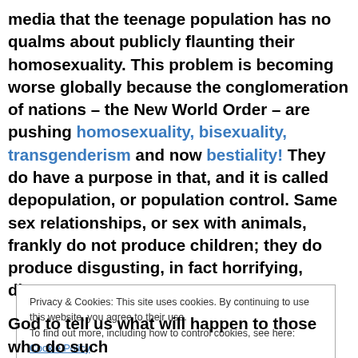media that the teenage population has no qualms about publicly flaunting their homosexuality. This problem is becoming worse globally because the conglomeration of nations – the New World Order – are pushing homosexuality, bisexuality, transgenderism and now bestiality! They do have a purpose in that, and it is called depopulation, or population control. Same sex relationships, or sex with animals, frankly do not produce children; they do produce disgusting, in fact horrifying, diseases!
Privacy & Cookies: This site uses cookies. By continuing to use this website, you agree to their use. To find out more, including how to control cookies, see here: Cookie Policy
God to tell us what will happen to those who do such